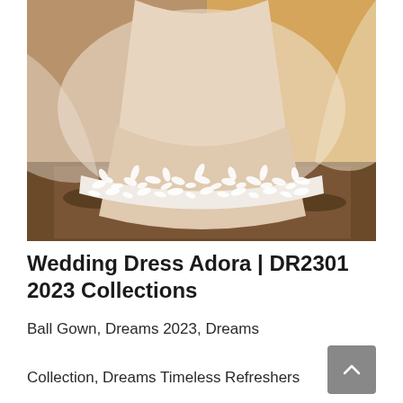[Figure (photo): Close-up photo of a wedding dress laid out on the ground outdoors, showing intricate white lace floral embroidery along the hem of a light blush/champagne ballgown, with sheer tulle veil spread around it, against a dirt and gravel background with warm golden light.]
Wedding Dress Adora | DR2301 2023 Collections
Ball Gown, Dreams 2023, Dreams Collection, Dreams Timeless Refreshers 2023, Floor, Lace, Matching Veil, Off-